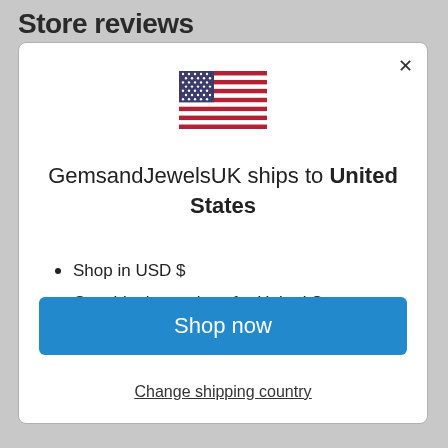Store reviews
[Figure (illustration): US flag emoji icon]
GemsandJewelsUK ships to United States
Shop in USD $
Get shipping options for United States
Shop now
Change shipping country